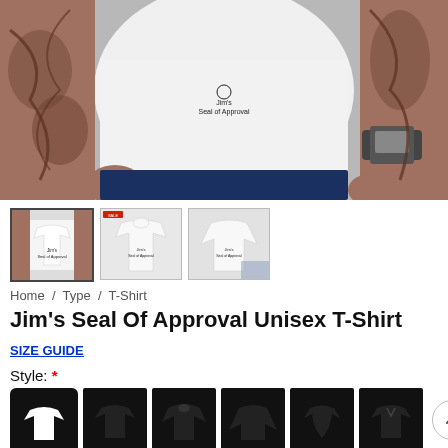[Figure (photo): Person wearing a white t-shirt with Jim's Seal Of Approval logo, tattoos visible on both forearms, wearing a watch on right wrist, hand in pocket.]
[Figure (photo): Thumbnail 1: White t-shirt with Jim's Seal Of Approval logo, selected/active thumbnail.]
[Figure (photo): Thumbnail 2: White hoodie with Jim's Seal Of Approval logo, shown on a person.]
[Figure (photo): Thumbnail 3: White long-sleeve shirt with Jim's Seal Of Approval logo, partially folded.]
Home / Type / T-Shirt
Jim's Seal Of Approval Unisex T-Shirt
SIZE GUIDE
Style: *
[Figure (illustration): Row of style option icons: 6 black garment silhouettes (t-shirt selected/highlighted, plain t-shirt, hoodie, long-sleeve, women's/fitted, v-neck), plus scroll-up button on the right.]